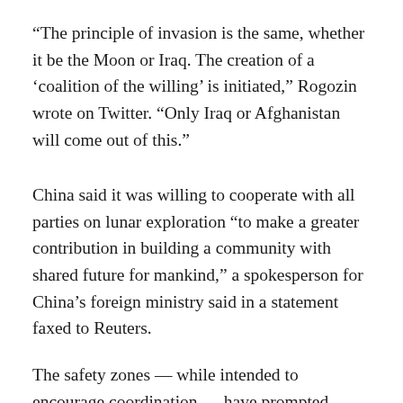“The principle of invasion is the same, whether it be the Moon or Iraq. The creation of a ‘coalition of the willing’ is initiated,” Rogozin wrote on Twitter. “Only Iraq or Afghanistan will come out of this.”
China said it was willing to cooperate with all parties on lunar exploration “to make a greater contribution in building a community with shared future for mankind,” a spokesperson for China’s foreign ministry said in a statement faxed to Reuters.
The safety zones — while intended to encourage coordination — have prompted questions on whether the accords align with the Outer Space Treaty, which